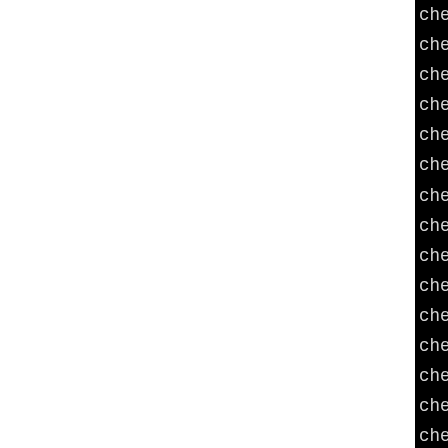checking for dirent.h tha
checking for library conta
checking whether sys/types
checking for term.h... yes
checking for linux/netlink
checking for clock_t in ti
checking for makedev... ye
checking Solaris LFS bug.
checking for mode_t... yes
checking for off_t... yes
checking for pid_t... yes
checking for size_t... yes
checking for uid_t in sys/
checking for uint32_t... y
checking for uint64_t... y
checking for int32_t... ye
checking for int64_t... ye
checking for ssize_t... ye
checking size of int... 4
checking size of long... 8
checking size of void *...
checking size of short...
checking size of float...
checking size of double..